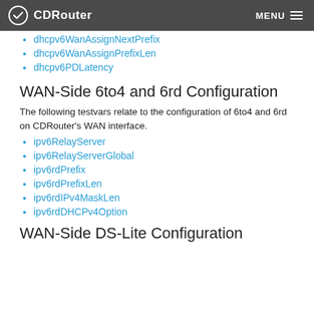CDRouter | MENU
dhcpv6WanAssignNextPrefix
dhcpv6WanAssignPrefixLen
dhcpv6PDLatency
WAN-Side 6to4 and 6rd Configuration
The following testvars relate to the configuration of 6to4 and 6rd on CDRouter's WAN interface.
ipv6RelayServer
ipv6RelayServerGlobal
ipv6rdPrefix
ipv6rdPrefixLen
ipv6rdIPv4MaskLen
ipv6rdDHCPv4Option
WAN-Side DS-Lite Configuration